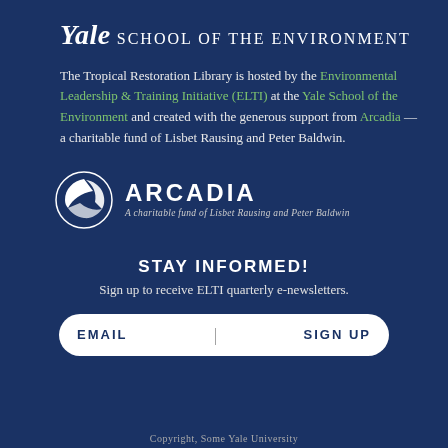Yale School of the Environment
The Tropical Restoration Library is hosted by the Environmental Leadership & Training Initiative (ELTI) at the Yale School of the Environment and created with the generous support from Arcadia — a charitable fund of Lisbet Rausing and Peter Baldwin.
[Figure (logo): Arcadia logo: circular swoosh icon with text 'ARCADIA' and subtitle 'A charitable fund of Lisbet Rausing and Peter Baldwin']
STAY INFORMED!
Sign up to receive ELTI quarterly e-newsletters.
EMAIL  |  SIGN UP
Copyright, Some Yale University